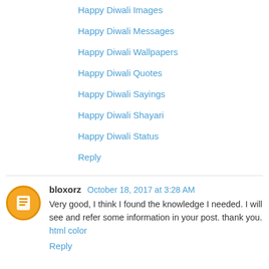Happy Diwali Images
Happy Diwali Messages
Happy Diwali Wallpapers
Happy Diwali Quotes
Happy Diwali Sayings
Happy Diwali Shayari
Happy Diwali Status
Reply
bloxorz  October 18, 2017 at 3:28 AM
Very good, I think I found the knowledge I needed. I will see and refer some information in your post. thank you.
html color
Reply